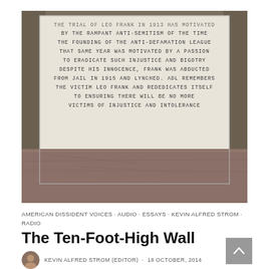[Figure (photo): Close-up photograph of a stone memorial plaque with engraved text about Leo Frank, the Anti-Defamation League, and victims of injustice and intolerance. The plaque appears to be mounted on a granite base.]
AMERICAN DISSIDENT VOICES · AUDIO · ESSAYS · KEVIN ALFRED STROM · RADIO
The Ten-Foot-High Wall
KEVIN ALFRED STROM (EDITOR) · 18 OCTOBER, 2014